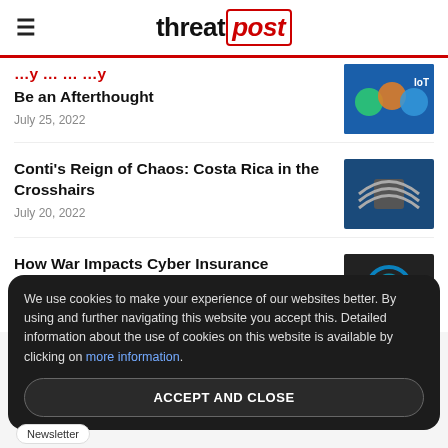threatpost
Be an Afterthought
July 25, 2022
Conti's Reign of Chaos: Costa Rica in the Crosshairs
July 20, 2022
How War Impacts Cyber Insurance
July 12, 2022
We use cookies to make your experience of our websites better. By using and further navigating this website you accept this. Detailed information about the use of cookies on this website is available by clicking on more information.
ACCEPT AND CLOSE
Newsletter